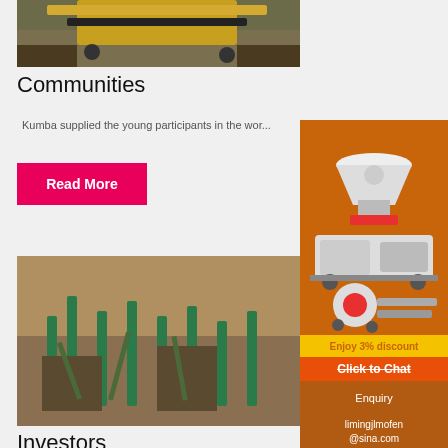[Figure (photo): Heavy mining machinery (yellow crawler-type crusher) on a gravel/dirt site]
Communities
Kumba supplied the young participants in the wor...
Read More
[Figure (photo): Aerial view of a mining processing plant with green conveyor belts and large piles of ore/gravel]
Investors
[Figure (illustration): Orange advertisement sidebar showing industrial crushing/grinding machinery with text: Enjoy 3% discount, Click to Chat, Enquiry, limingjlmofen@sina.com]